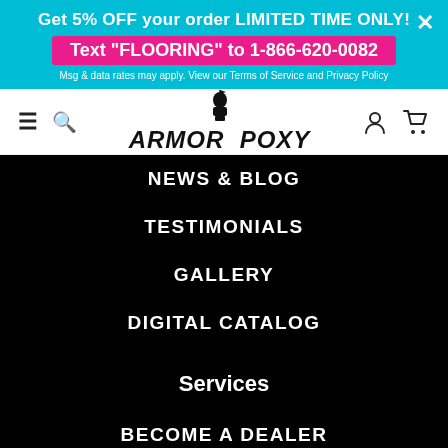Get 5% OFF your order LIMITED TIME ONLY!
Text "FLOORING" to 1-866-620-0082
Msg & data rates may apply. View our Terms of Service and Privacy Policy
[Figure (logo): ArmorPoxy logo with knight figure and bold italic text]
NEWS & BLOG
TESTIMONIALS
GALLERY
DIGITAL CATALOG
Services
BECOME A DEALER
FINANCING
ALL SERVICES